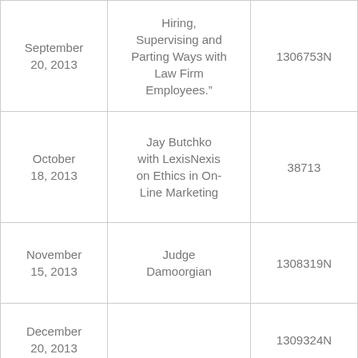| September 20, 2013 | Hiring, Supervising and Parting Ways with Law Firm Employees.” | 1306753N |
| October 18, 2013 | Jay Butchko with LexisNexis on Ethics in On-Line Marketing | 38713 |
| November 15, 2013 | Judge Damoorgian | 1308319N |
| December 20, 2013 |  | 1309324N |
| January 17, 2014 | Judge Levin Martin County Bench Bar | 1310307N |